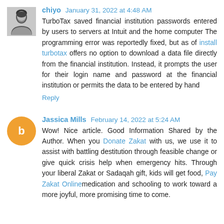chiyo  January 31, 2022 at 4:48 AM
TurboTax saved financial institution passwords entered by users to servers at Intuit and the home computer The programming error was reportedly fixed, but as of install turbotax offers no option to download a data file directly from the financial institution. Instead, it prompts the user for their login name and password at the financial institution or permits the data to be entered by hand
Reply
Jassica Mills  February 14, 2022 at 5:24 AM
Wow! Nice article. Good Information Shared by the Author. When you Donate Zakat with us, we use it to assist with battling destitution through feasible change or give quick crisis help when emergency hits. Through your liberal Zakat or Sadaqah gift, kids will get food, Pay Zakat Onlinemedication and schooling to work toward a more joyful, more promising time to come.